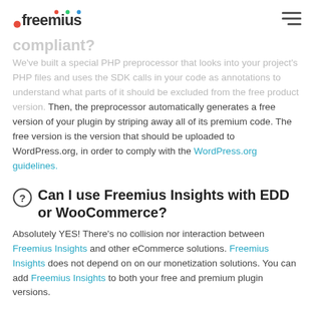Freemius [logo] [hamburger menu]
compliant?
We've built a special PHP preprocessor that looks into your project's PHP files and uses the SDK calls in your code as annotations to understand what parts of it should be excluded from the free product version. Then, the preprocessor automatically generates a free version of your plugin by striping away all of its premium code. The free version is the version that should be uploaded to WordPress.org, in order to comply with the WordPress.org guidelines.
Can I use Freemius Insights with EDD or WooCommerce?
Absolutely YES! There's no collision nor interaction between Freemius Insights and other eCommerce solutions. Freemius Insights does not depend on on our monetization solutions. You can add Freemius Insights to both your free and premium plugin versions.